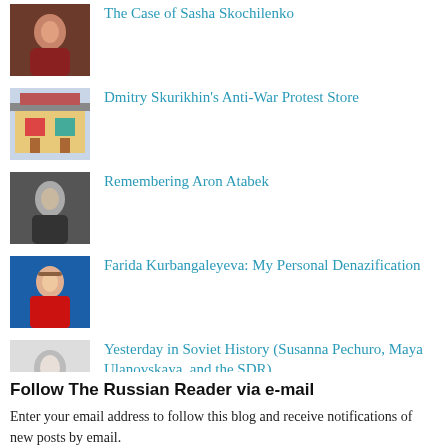The Case of Sasha Skochilenko
Dmitry Skurikhin's Anti-War Protest Store
Remembering Aron Atabek
Farida Kurbangaleyeva: My Personal Denazification
Yesterday in Soviet History (Susanna Pechuro, Maya Ulanovskaya, and the SDR)
I've Been Working in the Kremlin with a Two-Headed Dog
Follow The Russian Reader via e-mail
Enter your email address to follow this blog and receive notifications of new posts by email.